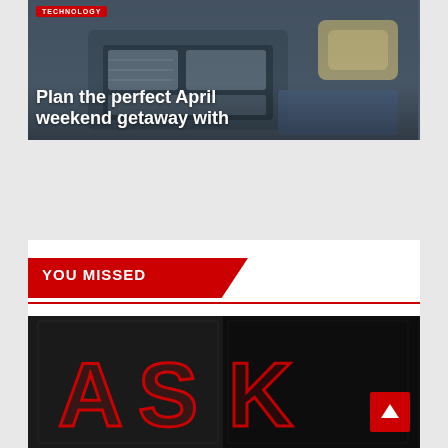[Figure (photo): Top article card showing luggage/suitcase photo with TECHNOLOGY badge and article title overlay]
TECHNOLOGY
Plan the perfect April weekend getaway with
YOU MISSED
[Figure (photo): Bottom article image showing red neon letters ASK on dark background]